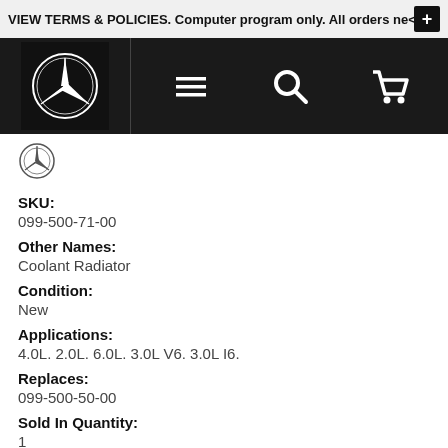VIEW TERMS & POLICIES. Computer program only. All orders ne...
[Figure (logo): Mercedes-Benz three-pointed star logo in white on black background in navigation bar, plus hamburger menu icon, search icon, and cart icon]
[Figure (logo): Mercedes-Benz three-pointed star logo (small, outlined) below navigation bar]
SKU:
099-500-71-00
Other Names:
Coolant Radiator
Condition:
New
Applications:
4.0L. 2.0L. 6.0L. 3.0L V6. 3.0L I6.
Replaces:
099-500-50-00
Sold In Quantity:
1